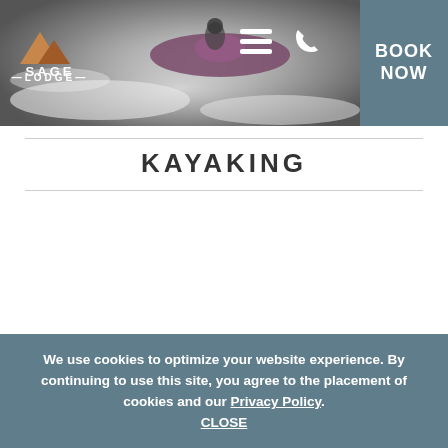[Figure (photo): Header photo of a kayaker navigating whitewater rapids, with Sage Lodge logo and navigation icons on the left, and a teal BOOK NOW button on the right]
KAYAKING
[Figure (infographic): Three icons with labels: calendar icon labeled JULY - SEPT, group/people icon labeled AGE 13+, stopwatch icon labeled 2 HOURS]
Experience a two-hour thrill of navigating a kayak through
We use cookies to optimize your website experience. By continuing to use this site, you agree to the placement of cookies and our Privacy Policy.
CLOSE